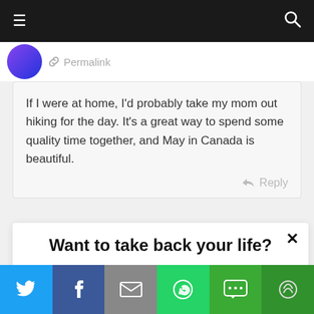Navigation bar with hamburger menu and search icon
Permalink
If I were at home, I'd probably take my mom out hiking for the day. It's a great way to spend some quality time together, and May in Canada is beautiful.
Reply
Want to take back your life?
Enter your email
YES!
Social share bar: Twitter, Facebook, Email, WhatsApp, SMS, More